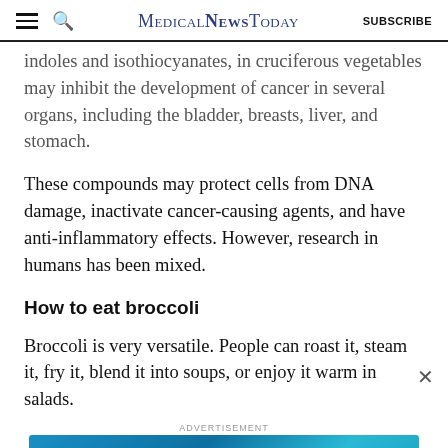MedicalNewsToday | SUBSCRIBE
indoles and isothiocyanates, in cruciferous vegetables may inhibit the development of cancer in several organs, including the bladder, breasts, liver, and stomach.
These compounds may protect cells from DNA damage, inactivate cancer-causing agents, and have anti-inflammatory effects. However, research in humans has been mixed.
How to eat broccoli
Broccoli is very versatile. People can roast it, steam it, fry it, blend it into soups, or enjoy it warm in salads.
[Figure (infographic): Advertisement banner for MNT newsletter subscription with teal/blue background, globe graphic, and Subscribe button. Text: 'Get the MNT newsletter — Subscribe to receive our top news articles']